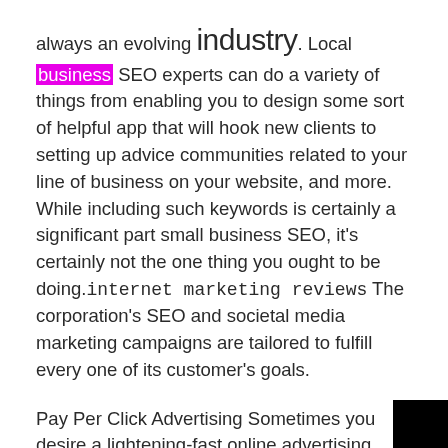always an evolving industry. Local business SEO experts can do a variety of things from enabling you to design some sort of helpful app that will hook new clients to setting up advice communities related to your line of business on your website, and more. While including such keywords is certainly a significant part small business SEO, it's certainly not the one thing you ought to be doing.internet marketing reviews The corporation's SEO and societal media marketing campaigns are tailored to fulfill every one of its customer's goals.

Pay Per Click Advertising Sometimes you desire a lightening-fast online advertising solution. Internet marketing has just get so popular it's encouraged for virtually all businesses of any